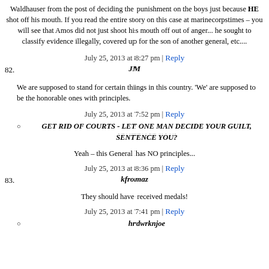Waldhauser from the post of deciding the punishment on the boys just because HE shot off his mouth. If you read the entire story on this case at marinecorpstimes – you will see that Amos did not just shoot his mouth off out of anger... he sought to classify evidence illegally, covered up for the son of another general, etc....
July 25, 2013 at 8:27 pm | Reply
82. JM
We are supposed to stand for certain things in this country. 'We' are supposed to be the honorable ones with principles.
July 25, 2013 at 7:52 pm | Reply
GET RID OF COURTS - LET ONE MAN DECIDE YOUR GUILT, SENTENCE YOU?
Yeah – this General has NO principles...
July 25, 2013 at 8:36 pm | Reply
83. kfromaz
They should have received medals!
July 25, 2013 at 7:41 pm | Reply
hrdwrknjoe